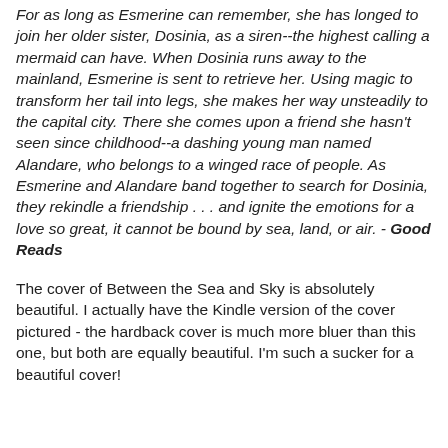For as long as Esmerine can remember, she has longed to join her older sister, Dosinia, as a siren--the highest calling a mermaid can have. When Dosinia runs away to the mainland, Esmerine is sent to retrieve her. Using magic to transform her tail into legs, she makes her way unsteadily to the capital city. There she comes upon a friend she hasn't seen since childhood--a dashing young man named Alandare, who belongs to a winged race of people. As Esmerine and Alandare band together to search for Dosinia, they rekindle a friendship . . . and ignite the emotions for a love so great, it cannot be bound by sea, land, or air. - Good Reads
The cover of Between the Sea and Sky is absolutely beautiful. I actually have the Kindle version of the cover pictured - the hardback cover is much more bluer than this one, but both are equally beautiful. I'm such a sucker for a beautiful cover!